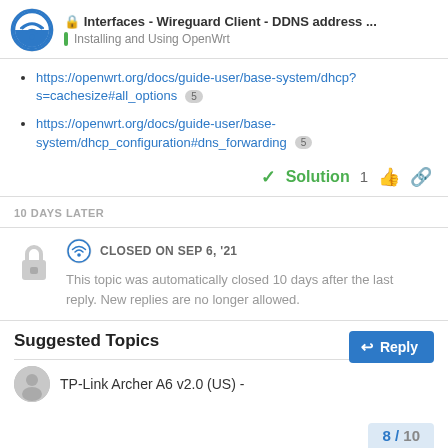Interfaces - Wireguard Client - DDNS address ... | Installing and Using OpenWrt
https://openwrt.org/docs/guide-user/base-system/dhcp?s=cachesize#all_options 5
https://openwrt.org/docs/guide-user/base-system/dhcp_configuration#dns_forwarding 5
Solution  1
10 DAYS LATER
CLOSED ON SEP 6, '21
This topic was automatically closed 10 days after the last reply. New replies are no longer allowed.
Suggested Topics
8 / 10
TP-Link Archer A6 v2.0 (US) -